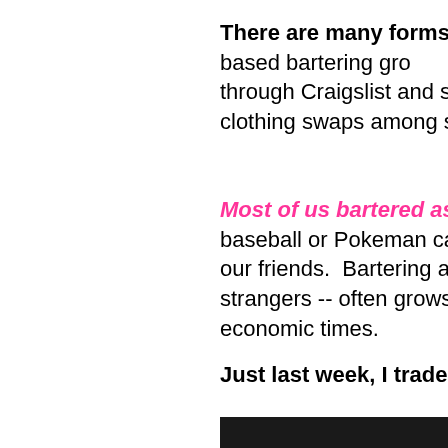There are many forms of bartering -- membership-based bartering groups, through Craigslist and similar websites, clothing swaps among small groups
Most of us bartered as children -- baseball or Pokeman cards,and exchanging with our friends. Bartering among adults -- even strangers -- often grows in prevalence in tough economic times.
Just last week, I traded these 4
[Figure (photo): Dark/black image area at bottom right of page]